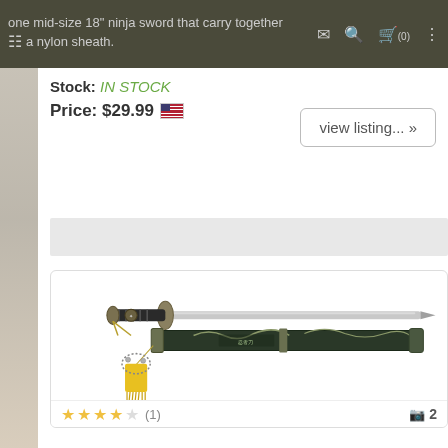one mid-size 18" ninja sword that carry together a nylon sheath.
Stock: IN STOCK
Price: $29.99
view listing... »
[Figure (photo): A ninja sword with a dark handle, silver blade, decorative green/black scabbard with dragon motif, and yellow tassel with beaded cord.]
★★★★☆ (1)   📷 2